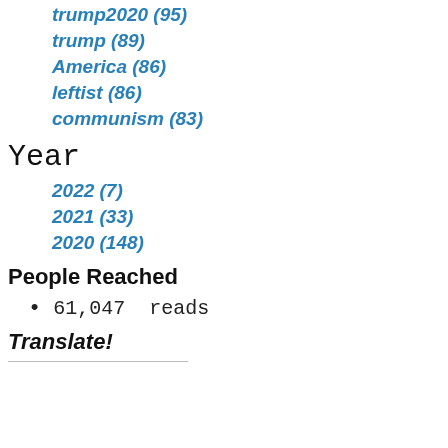trump2020 (95)
trump (89)
America (86)
leftist (86)
communism (83)
Year
2022 (7)
2021 (33)
2020 (148)
People Reached
61,047  reads
Translate!